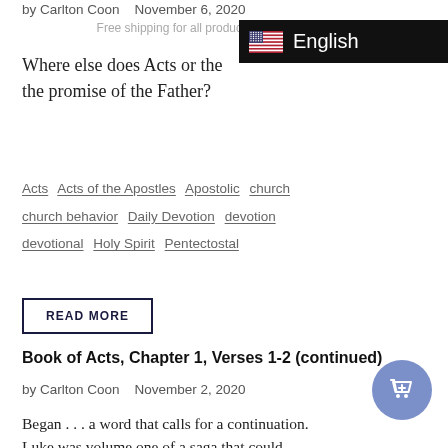by Carlton Coon   November 6, 2020
Free shipping for all products anywhere in the USA
[Figure (infographic): Black language selector bar showing a US flag icon and the word 'English' in white text on a black background, positioned top-right]
Where else does Acts or the        the promise of the Father?
Acts   Acts of the Apostles   Apostolic   church   church behavior   Daily Devotion   devotion   devotional   Holy Spirit   Pentectostal
READ MORE
Book of Acts, Chapter 1, Verses 1-2 (continued)
by Carlton Coon   November 2, 2020
Began . . . a word that calls for a continuation. Luke was volume one of a saga that could  contained in one writing,. God's approach is different, the tools being employed are different,